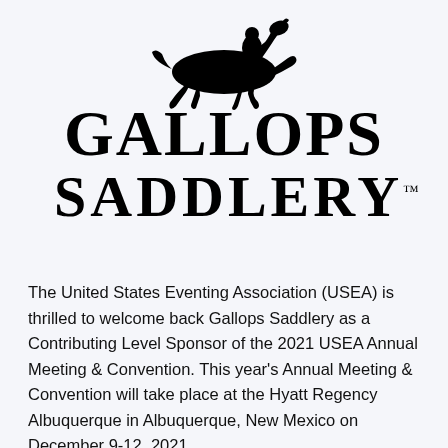[Figure (logo): Gallops Saddlery logo: silhouette of a horse and jockey galloping, above the text GALLOPS SADDLERY with a TM mark]
The United States Eventing Association (USEA) is thrilled to welcome back Gallops Saddlery as a Contributing Level Sponsor of the 2021 USEA Annual Meeting & Convention. This year's Annual Meeting & Convention will take place at the Hyatt Regency Albuquerque in Albuquerque, New Mexico on December 9-12, 2021.